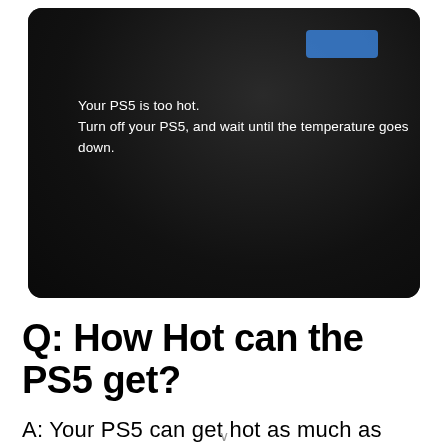[Figure (screenshot): A dark/black screen screenshot showing a PS5 overheating warning message in white text: 'Your PS5 is too hot. Turn off your PS5, and wait until the temperature goes down.' A blue rectangle is visible in the upper right of the screen.]
Q: How Hot can the PS5 get?
A: Your PS5 can get hot as much as